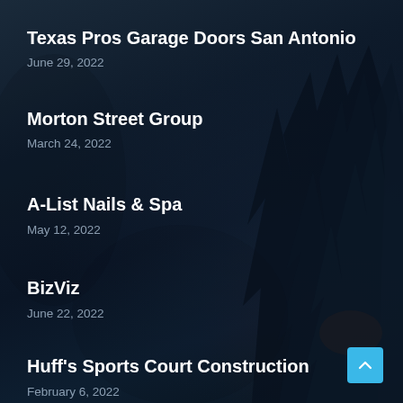[Figure (photo): Dark aerial forest/landscape background with deep navy blue tones and tree silhouettes on the right side]
Texas Pros Garage Doors San Antonio
June 29, 2022
Morton Street Group
March 24, 2022
A-List Nails & Spa
May 12, 2022
BizViz
June 22, 2022
Huff's Sports Court Construction
February 6, 2022